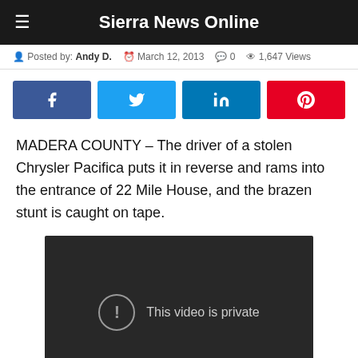Sierra News Online
Posted by: Andy D.  March 12, 2013  0  1,647 Views
[Figure (other): Social share buttons: Facebook, Twitter, LinkedIn, Pinterest]
MADERA COUNTY – The driver of a stolen Chrysler Pacifica puts it in reverse and rams into the entrance of 22 Mile House, and the brazen stunt is caught on tape.
[Figure (screenshot): Embedded YouTube video player showing 'This video is private' message with exclamation icon on dark background]
Surveillance video captured the incident starting shortly before 4 a.m.